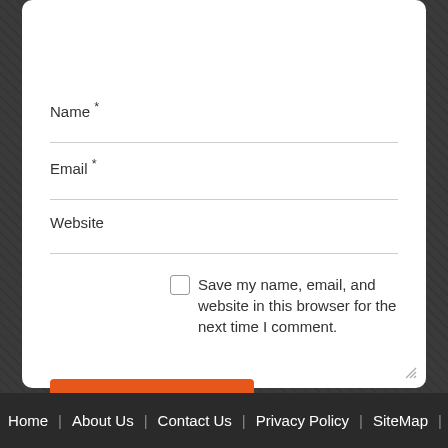[Figure (screenshot): Web form with Name, Email, Website fields, a save checkbox, Post Comment button, and current year display]
Name *
Email *
Website
Save my name, email, and website in this browser for the next time I comment.
Post Comment
Current ye@r * 4.4
Home | About Us | Contact Us | Privacy Policy | SiteMap |